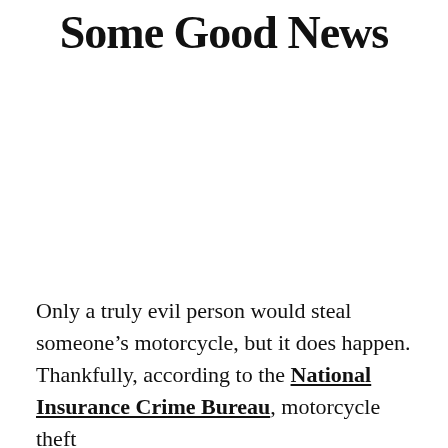Some Good News
Only a truly evil person would steal someone’s motorcycle, but it does happen. Thankfully, according to the National Insurance Crime Bureau, motorcycle theft is actually at an all-time low. The bureau reported that in 2019 a total of 40,380 motorcycles were stolen.